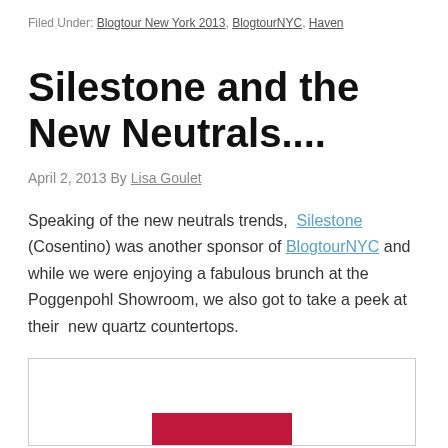Filed Under: Blogtour New York 2013, BlogtourNYC, Haven
Silestone and the New Neutrals....
April 2, 2013 By Lisa Goulet
Speaking of the new neutrals trends,  Silestone (Cosentino) was another sponsor of BlogtourNYC and while we were enjoying a fabulous brunch at the Poggenpohl Showroom, we also got to take a peek at their  new quartz countertops.
[Figure (photo): Partially visible image with a red/crimson banner element at the bottom center, likely a Silestone product display or showroom photo.]